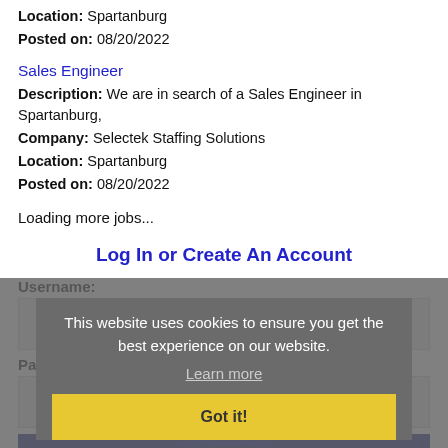Location: Spartanburg
Posted on: 08/20/2022
Sales Engineer
Description: We are in search of a Sales Engineer in Spartanburg,
Company: Selectek Staffing Solutions
Location: Spartanburg
Posted on: 08/20/2022
Loading more jobs...
Log In or Create An Account
Username:
Password:
Log In
This website uses cookies to ensure you get the best experience on our website.
Learn more
Got it!
Forgot account?